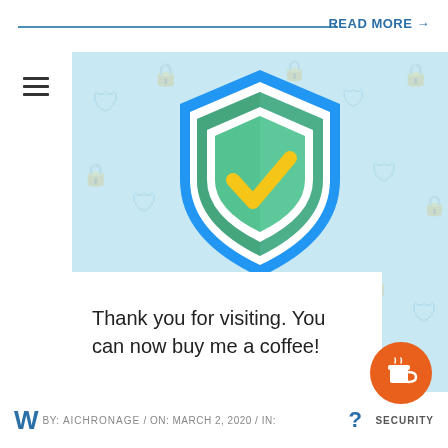READ MORE →
[Figure (illustration): VPN security shield icon with green shield and yellow checkmark on a light blue background with subtle lock pattern icons. Text 'Free VPN' appears at the bottom of the image.]
Thank you for visiting. You can now buy me a coffee!
W... BY: ... / ON: MARCH 2, 2020 / IN: SECURITY